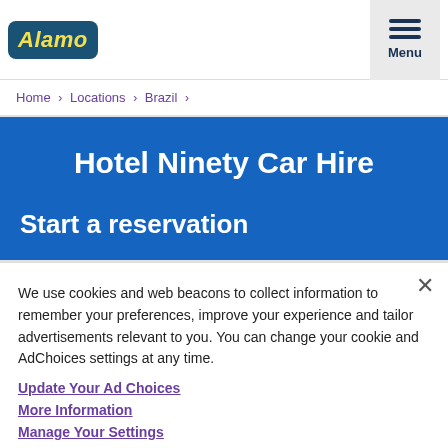Alamo | Menu
Home › Locations › Brazil ›
Hotel Ninety Car Hire
Start a reservation
We use cookies and web beacons to collect information to remember your preferences, improve your experience and tailor advertisements relevant to you. You can change your cookie and AdChoices settings at any time.
Update Your Ad Choices
More Information
Manage Your Settings